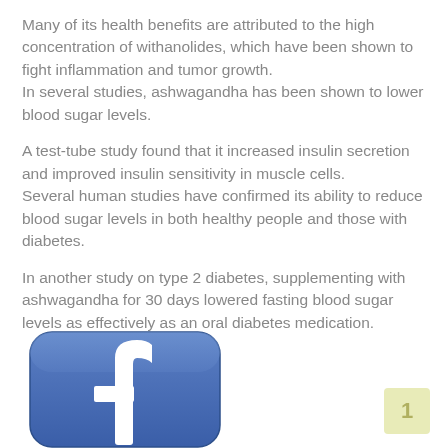Many of its health benefits are attributed to the high concentration of withanolides, which have been shown to fight inflammation and tumor growth.
In several studies, ashwagandha has been shown to lower blood sugar levels.
A test-tube study found that it increased insulin secretion and improved insulin sensitivity in muscle cells.
Several human studies have confirmed its ability to reduce blood sugar levels in both healthy people and those with diabetes.
In another study on type 2 diabetes, supplementing with ashwagandha for 30 days lowered fasting blood sugar levels as effectively as an oral diabetes medication.
[Figure (logo): Facebook logo icon - blue rounded square with white 'f' lettermark, partially visible at bottom of page]